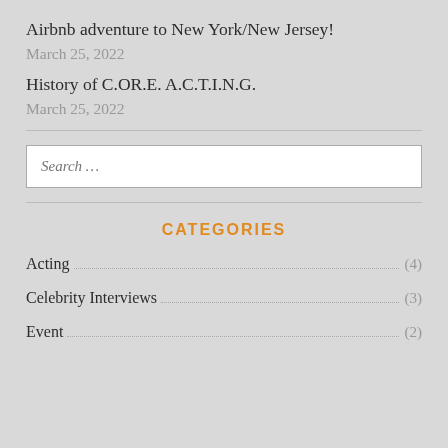Airbnb adventure to New York/New Jersey!
March 25, 2022
History of C.OR.E. A.C.T.I.N.G.
March 25, 2022
CATEGORIES
Acting (4)
Celebrity Interviews (3)
Event (2)